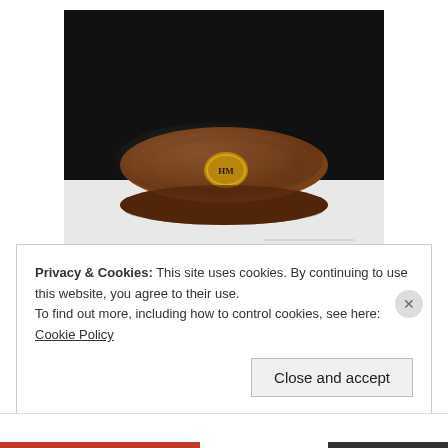[Figure (photo): A round wooden box or puck-shaped item with a dark wood finish and a small gold emblem/logo on top, photographed against a dark background with white surface below.]
Please do your own research to check my veracity on this subject. You will not find another anywhere. This is one of the very few examples of a Halcyon item that was made from wood.
Privacy & Cookies: This site uses cookies. By continuing to use this website, you agree to their use.
To find out more, including how to control cookies, see here: Cookie Policy